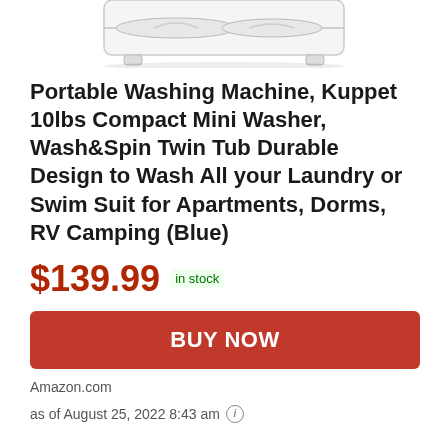[Figure (photo): Partial top view of a white portable washing machine / twin tub, showing the upper portion of the appliance against a white background.]
Portable Washing Machine, Kuppet 10lbs Compact Mini Washer, Wash&Spin Twin Tub Durable Design to Wash All your Laundry or Swim Suit for Apartments, Dorms, RV Camping (Blue)
$139.99 in stock
BUY NOW
Amazon.com
as of August 25, 2022 8:43 am